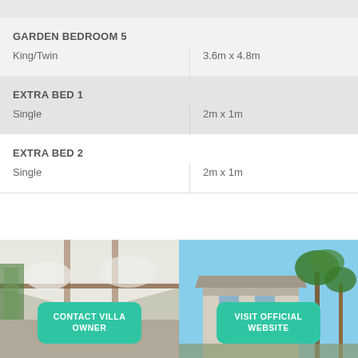| Room Type | Dimensions |
| --- | --- |
| GARDEN BEDROOM 5 |  |
| King/Twin | 3.6m x 4.8m |
| EXTRA BED 1 |  |
| Single | 2m x 1m |
| EXTRA BED 2 |  |
| Single | 2m x 1m |
[Figure (photo): Interior photo of villa with white drape ceiling and wooden trim]
[Figure (photo): Exterior photo of villa surrounded by palm trees and blue sky]